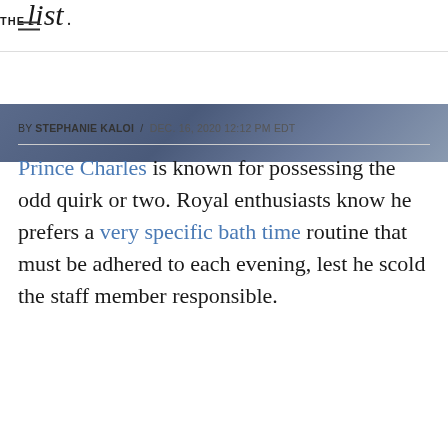THE list
[Figure (photo): Cropped photo strip showing a person in a suit with a blue patterned tie, only the lower portion visible]
BY STEPHANIE KALOI / DEC. 16, 2020 12:12 PM EDT
Prince Charles is known for possessing the odd quirk or two. Royal enthusiasts know he prefers a very specific bath time routine that must be adhered to each evening, lest he scold the staff member responsible.